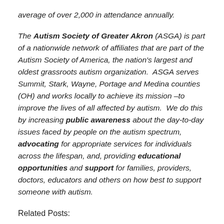average of over 2,000 in attendance annually.
The Autism Society of Greater Akron (ASGA) is part of a nationwide network of affiliates that are part of the Autism Society of America, the nation's largest and oldest grassroots autism organization. ASGA serves Summit, Stark, Wayne, Portage and Medina counties (OH) and works locally to achieve its mission –to improve the lives of all affected by autism. We do this by increasing public awareness about the day-to-day issues faced by people on the autism spectrum, advocating for appropriate services for individuals across the lifespan, and, providing educational opportunities and support for families, providers, doctors, educators and others on how best to support someone with autism.
Related Posts: